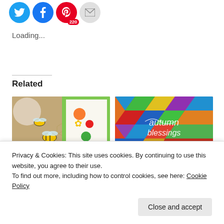[Figure (other): Social share buttons row: Twitter (blue circle), Facebook (blue circle), Pinterest (red circle with badge 220), Email (grey circle)]
Loading...
Related
[Figure (photo): Two craft cards side by side: left card shows bee and honeycomb designs, right card shows colorful food/floral design]
SSS Rest and Refresh
SSS STAMPtember® Blog
Privacy & Cookies: This site uses cookies. By continuing to use this website, you agree to their use.
To find out more, including how to control cookies, see here: Cookie Policy
Close and accept